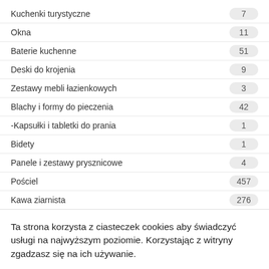Kuchenki turystyczne – 7
Okna – 11
Baterie kuchenne – 51
Deski do krojenia – 9
Zestawy mebli łazienkowych – 3
Blachy i formy do pieczenia – 42
-Kapsułki i tabletki do prania – 1
Bidety – 1
Panele i zestawy prysznicowe – 4
Pościel – 457
Kawa ziarnista – 276
Ta strona korzysta z ciasteczek cookies aby świadczyć usługi na najwyższym poziomie. Korzystając z witryny zgadzasz się na ich używanie.
Czytaj więcej
Zaakceptuj wszystkie